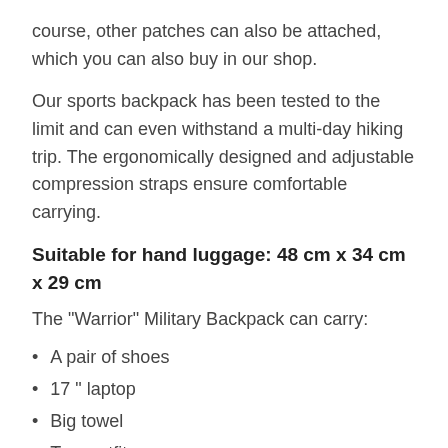course, other patches can also be attached, which you can also buy in our shop.
Our sports backpack has been tested to the limit and can even withstand a multi-day hiking trip. The ergonomically designed and adjustable compression straps ensure comfortable carrying.
Suitable for hand luggage: 48 cm x 34 cm x 29 cm
The "Warrior" Military Backpack can carry:
A pair of shoes
17 " laptop
Big towel
Two outfits